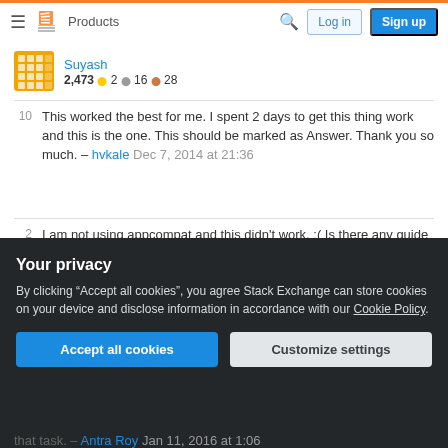≡ [Stack Overflow logo] Products 🔍 Log in Sign up
Suyash 2,473 ●2 ●16 ●28
10 This worked the best for me. I spent 2 days to get this thing work and this is the one. This should be marked as Answer. Thank you so much. – hvkale Dec 7, 2014 at 21:36
2 I am not using appcompat and this didn't work. :( Is there any guide one getting this working without appcompat? – Jared Rummler Jan 1, 2015 at 22:29
3 This is the most perfect answer. I have implemented and tested it in various Android devices from 4.X to
Your privacy
By clicking "Accept all cookies", you agree Stack Exchange can store cookies on your device and disclose information in accordance with our Cookie Policy.
Accept all cookies   Customize settings
that task. – Antra Roy Jan 11, 2016 at 1:06